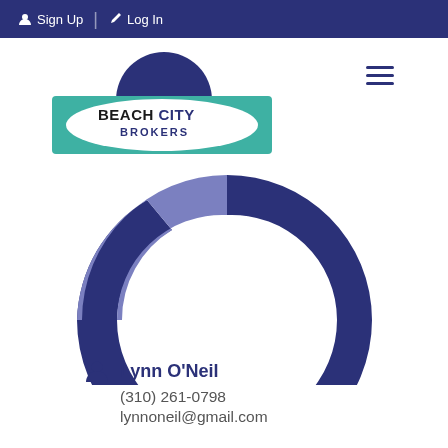Sign Up  Log In
[Figure (logo): Beach City Brokers logo with circular blue emblem and teal rectangular background, overlaid with white oval and bold text BEACH CITY BROKERS]
[Figure (illustration): Large Beach City Brokers brand graphic showing a dark navy blue circular arc (smile/wave shape) with a lighter periwinkle-blue left segment, forming the lower part of the company logo icon]
Lynn O'Neil
(310) 261-0798
lynnoneil@gmail.com